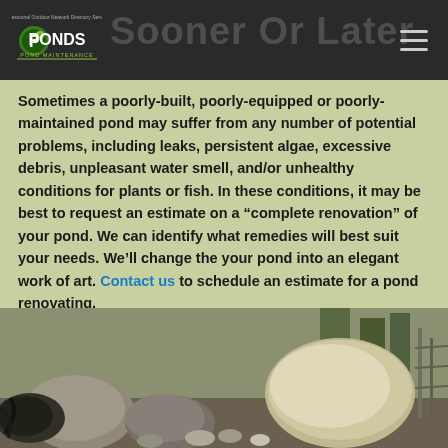Sooner Or Later — PONDS Pond Maintenance logo header
Sometimes a poorly-built, poorly-equipped or poorly-maintained pond may suffer from any number of potential problems, including leaks, persistent algae, excessive debris, unpleasant water smell, and/or unhealthy conditions for plants or fish. In these conditions, it may be best to request an estimate on a “complete renovation” of your pond. We can identify what remedies will best suit your needs. We’ll change the your pond into an elegant work of art. Contact us to schedule an estimate for a pond renovating.
[Figure (photo): Outdoor pond renovation scene showing large rocks and boulders in a garden setting]